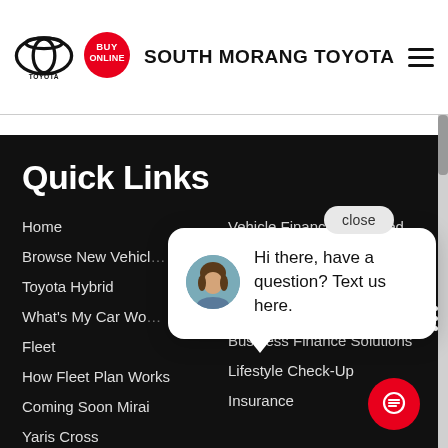SOUTH MORANG TOYOTA
Quick Links
Home
Browse New Vehicles
Toyota Hybrid
What's My Car Worth
Fleet
How Fleet Plan Works
Coming Soon Mirai
Yaris Cross
Vehicle Finance Explained
Toyota Access
Business Finance Solutions
Lifestyle Check-Up
Insurance
Hi there, have a question? Text us here.
close